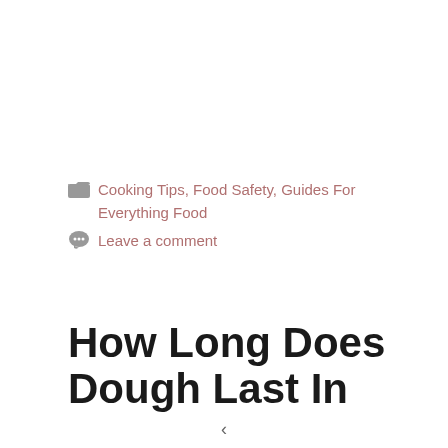Cooking Tips, Food Safety, Guides For Everything Food
Leave a comment
How Long Does Dough Last In